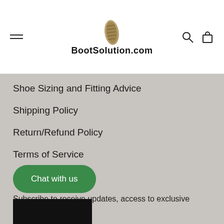BootSolution.com
Shoe Sizing and Fitting Advice
Shipping Policy
Return/Refund Policy
Terms of Service
NEWSLETTER
Subscribe to receive updates, access to exclusive deals, and more.